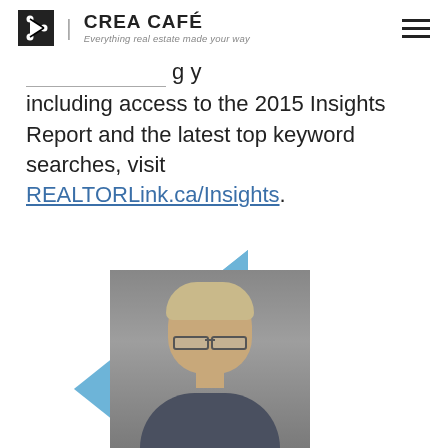CREA CAFÉ — Everything real estate made your way
including access to the 2015 Insights Report and the latest top keyword searches, visit REALTORLink.ca/Insights.
[Figure (photo): Headshot of a middle-aged man with glasses and short blonde hair against a grey background, with a blue geometric shape in the lower left corner.]